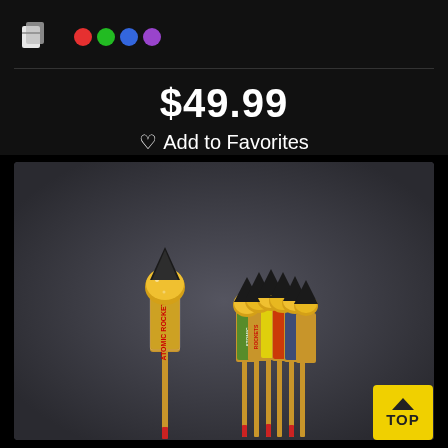[Figure (logo): Card/palette icon and colored dots row (app navigation icons)]
$49.99
♡ Add to Favorites
[Figure (photo): Product photo of Atomic Rockets fireworks — one single rocket standing upright on the left, and a bundle of six rockets grouped together on the right, all with black conical tips, gold glittery bodies with colorful labels, and wooden sticks.]
[Figure (other): Yellow TOP button with upward chevron arrow]